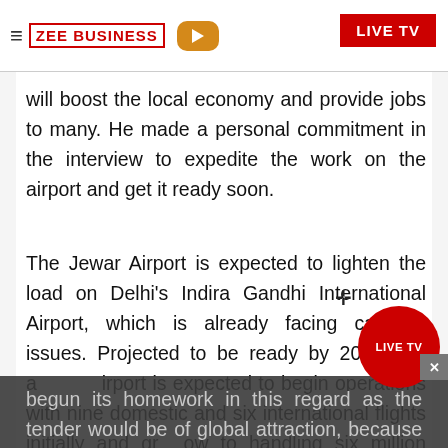ZEE BUSINESS | LIVE TV
will boost the local economy and provide jobs to many. He made a personal commitment in the interview to expedite the work on the airport and get it ready soon.
The Jewar Airport is expected to lighten the load on Delhi's Indira Gandhi International Airport, which is already facing capacity issues. Projected to be ready by 2023, the airport is expected to begin operations with nine domestic and six international flights initially and grow to handling six million passengers annually. Noida International Airport Limited (NIAL) has begun its homework in this regard as the tender would be of global attraction, because there